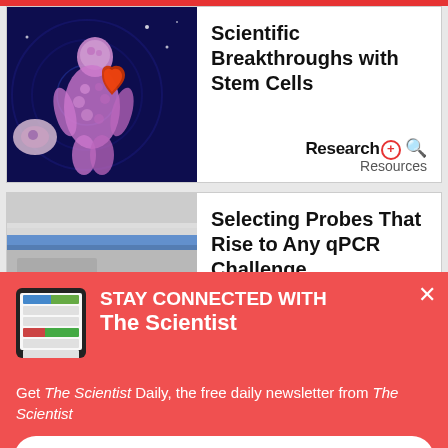[Figure (illustration): Scientific illustration of a human figure made of cells/molecules in purple/pink tones against a dark blue background, with a heart organ highlighted in orange/red near the chest area]
Scientific Breakthroughs with Stem Cells
[Figure (logo): Research+ Resources logo with a magnifying glass icon]
[Figure (photo): Partial view of a laboratory or scientific instrument with blue horizontal light strip]
Selecting Probes That Rise to Any qPCR Challenge
[Figure (photo): Tablet device showing The Scientist Daily website/app interface]
STAY CONNECTED WITH The Scientist
Get The Scientist Daily, the free daily newsletter from The Scientist
Sign up for our free newsletter